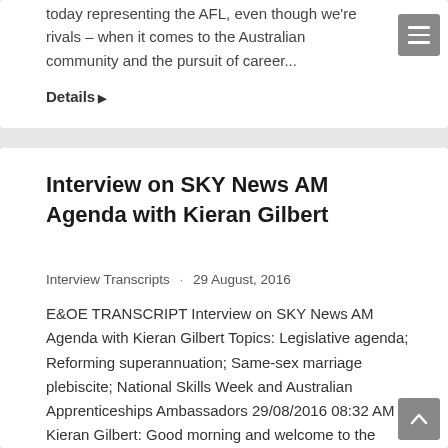today representing the AFL, even though we're rivals – when it comes to the Australian community and the pursuit of career...
Details ▶
Interview on SKY News AM Agenda with Kieran Gilbert
Interview Transcripts · 29 August, 2016
E&OE TRANSCRIPT Interview on SKY News AM Agenda with Kieran Gilbert Topics: Legislative agenda; Reforming superannuation; Same-sex marriage plebiscite; National Skills Week and Australian Apprenticeships Ambassadors 29/08/2016 08:32 AM Kieran Gilbert: Good morning and welcome to the program. The Coalition party